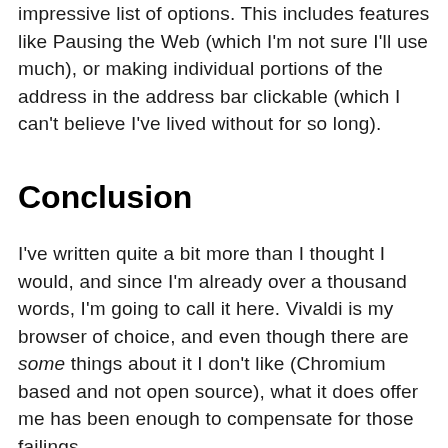impressive list of options. This includes features like Pausing the Web (which I'm not sure I'll use much), or making individual portions of the address in the address bar clickable (which I can't believe I've lived without for so long).
Conclusion
I've written quite a bit more than I thought I would, and since I'm already over a thousand words, I'm going to call it here. Vivaldi is my browser of choice, and even though there are some things about it I don't like (Chromium based and not open source), what it does offer me has been enough to compensate for those failings.